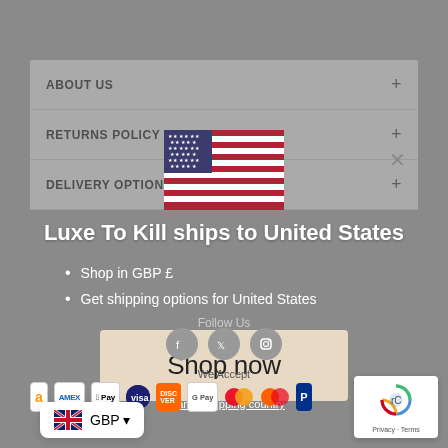ABOUT US
RETURNS POLICY
DELIVERY OPTIONS
[Figure (illustration): US flag illustration]
Luxe To Kill ships to United States
Shop in GBP £
Get shipping options for United States
Shop now
Change shipping country
Follow Us
We Accept
GBP ▼
Privacy · Terms